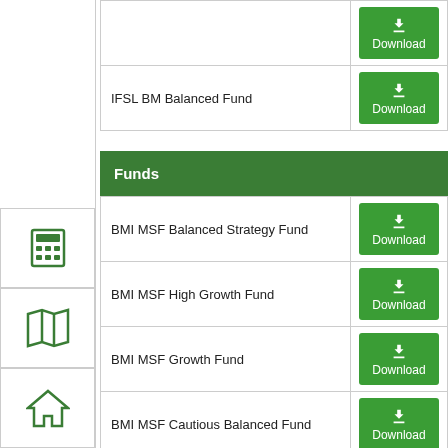|  |  |
| --- | --- |
| IFSL BM Balanced Fund | Download |
Funds
|  |  |
| --- | --- |
| BMI MSF Balanced Strategy Fund | Download |
| BMI MSF High Growth Fund | Download |
| BMI MSF Growth Fund | Download |
| BMI MSF Cautious Balanced Fund | Download |
| Test Tutorial | Download |